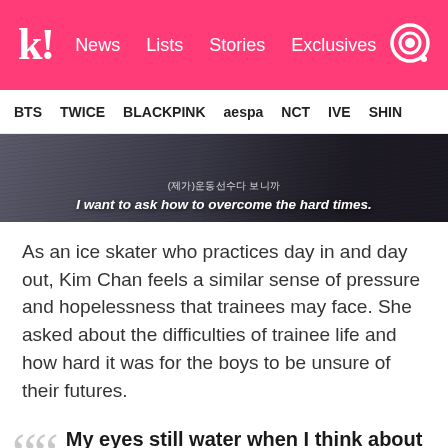k! News  Lists  Stories  Exclusives
BTS  TWICE  BLACKPINK  aespa  NCT  IVE  SHINee
[Figure (screenshot): Dark background image with Korean text (제가)운동선수다 보니까 and subtitle: I want to ask how to overcome the hard times.]
As an ice skater who practices day in and day out, Kim Chan feels a similar sense of pressure and hopelessness that trainees may face. She asked about the difficulties of trainee life and how hard it was for the boys to be unsure of their futures.
"My eyes still water when I think about it." — Hyunsuk